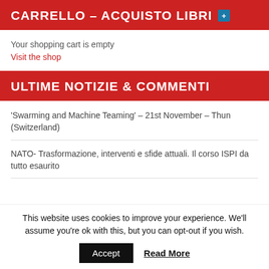CARRELLO – ACQUISTO LIBRI +
Your shopping cart is empty
Visit the shop
ULTIME NOTIZIE & COMMENTI
'Swarming and Machine Teaming' – 21st November – Thun (Switzerland)
NATO- Trasformazione, interventi e sfide attuali. Il corso ISPI da tutto esaurito
This website uses cookies to improve your experience. We'll assume you're ok with this, but you can opt-out if you wish.
Accept  Read More